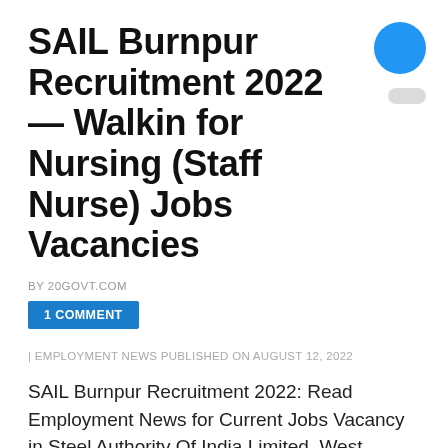SAIL Burnpur Recruitment 2022 — Walkin for Nursing (Staff Nurse) Jobs Vacancies
BY 20GOVT.COM
1 COMMENT
| EMPLOYMENT NEWS PUBLISHED ON AUGUST 12, 2022
SAIL Burnpur Recruitment 2022: Read Employment News for Current Jobs Vacancy in Steel Authority Of India Limited, West Bengal. Get Latest Jobs Notification for SAIL Burnpur Career Vacancies 2022. Find Upcoming Jobs in SAIL Burnpur Recruitment 2022. Find Employment Job Alert for Steel Authority Of … View Full Job…